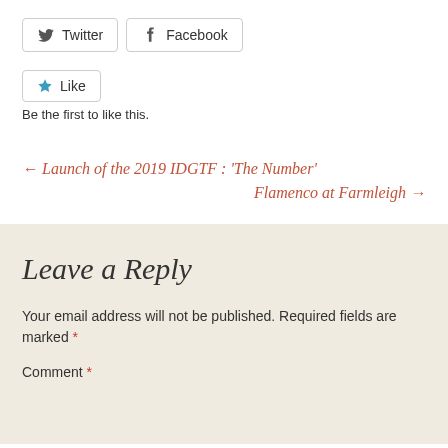[Figure (screenshot): Twitter and Facebook share buttons]
[Figure (screenshot): Like button widget with star icon]
Be the first to like this.
← Launch of the 2019 IDGTF : ‘The Number’
Flamenco at Farmleigh →
Leave a Reply
Your email address will not be published. Required fields are marked *
Comment *